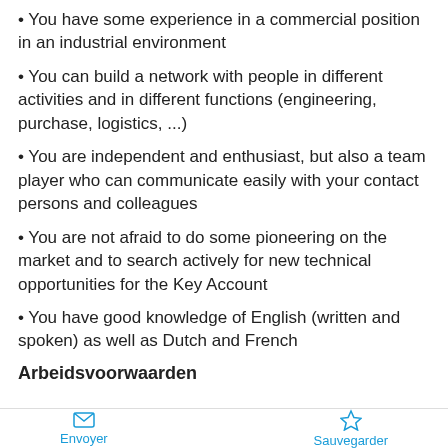• You have some experience in a commercial position in an industrial environment
• You can build a network with people in different activities and in different functions (engineering, purchase, logistics, ...)
• You are independent and enthusiast, but also a team player who can communicate easily with your contact persons and colleagues
• You are not afraid to do some pioneering on the market and to search actively for new technical opportunities for the Key Account
• You have good knowledge of English (written and spoken) as well as Dutch and French
Arbeidsvoorwaarden
Envoyer   Sauvegarder